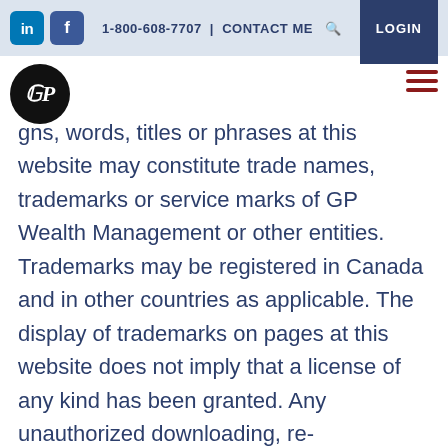1-800-608-7707 | CONTACT ME | LOGIN
gns, words, titles or phrases at this website may constitute trade names, trademarks or service marks of GP Wealth Management or other entities. Trademarks may be registered in Canada and in other countries as applicable. The display of trademarks on pages at this website does not imply that a license of any kind has been granted. Any unauthorized downloading, re-transmission or other copying or modification of trademarks and/or the contents herein may be a